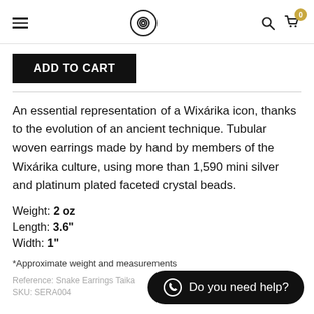Navigation header with hamburger menu, spiral logo, search icon, and cart with badge 0
ADD TO CART
An essential representation of a Wixárika icon, thanks to the evolution of an ancient technique. Tubular woven earrings made by hand by members of the Wixárika culture, using more than 1,590 mini silver and platinum plated faceted crystal beads.
Weight: 2 oz
Length: 3.6"
Width: 1"
*Approximate weight and measurements
Reference: Snake Earrings Taika
SKU: SERA004
Do you need help?